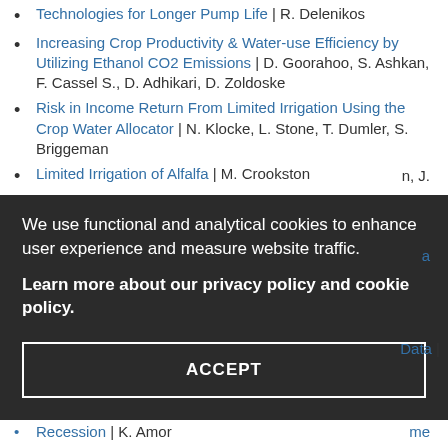Technologies for Longer Pump Life | R. Delenikos
Increasing Crop Productivity & Water-use Efficiency by Utilizing Ethanol CO2 Emissions | D. Goorahoo, S. Ashkan, F. Cassel S., D. Adhikari, D. Zoldoske
Risk in Income Return From Limited Irrigation Using the Crop Water Allocator | N. Klocke, L. Stone, T. Dumler, S. Briggeman
Limited Irrigation of Alfalfa | M. Crookston
Irrigation Water Stress Management Study of Vineyard
We use functional and analytical cookies to enhance user experience and measure website traffic.
Learn more about our privacy policy and cookie policy.
ACCEPT
Recession | K. Amor